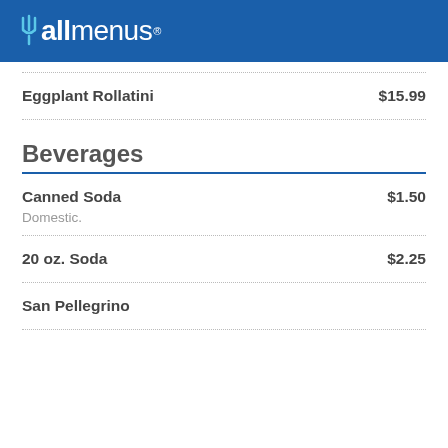allmenus
Eggplant Rollatini  $15.99
Beverages
Canned Soda  $1.50
Domestic.
20 oz. Soda  $2.25
San Pellegrino